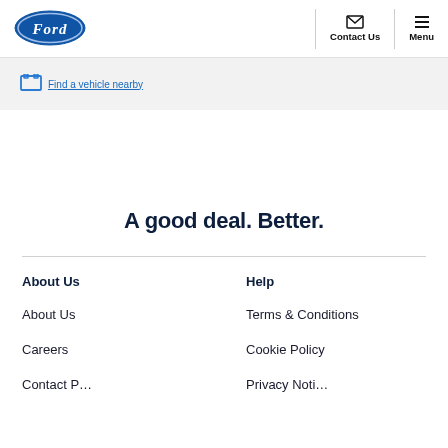Ford | Contact Us | Menu
[Figure (logo): Ford oval blue logo with cursive Ford text]
Contact Us
Menu
(partially visible banner link text)
A good deal. Better.
About Us
Help
About Us
Terms & Conditions
Careers
Cookie Policy
Contact P... (cut off)
Privacy Noti... (cut off)